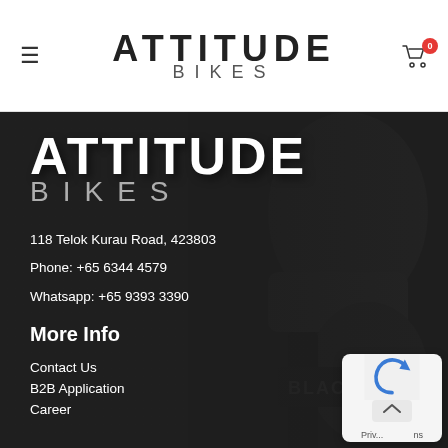ATTITUDE BIKES — navigation bar with hamburger menu and cart icon (0 items)
[Figure (logo): Attitude Bikes logo in dark hero section — large white bold ATTITUDE text above lighter grey BIKES text]
118 Telok Kurau Road, 423803
Phone: +65 6344 4579
Whatsapp: +65 9393 3390
More Info
Contact Us
B2B Application
Career
[Figure (screenshot): Privacy/cookie consent widget in bottom-right corner with a blue arrow icon and Priv... ns text]